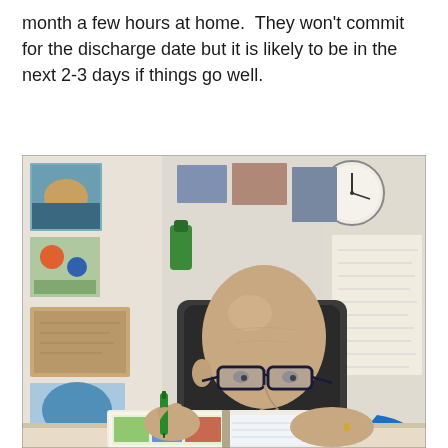month a few hours at home.  They won't commit for the discharge date but it is likely to be in the next 2-3 days if things go well.
[Figure (photo): A bald man wearing glasses and a blue long-sleeve shirt sitting at a desk, writing or coloring in a book with a green pen/marker. The background shows a cluttered wall with photos, posters, and papers pinned up, and a clock visible in the upper right area.]